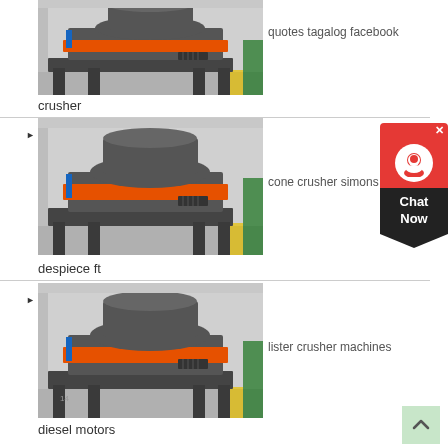[Figure (photo): Industrial cone crusher machine in a factory setting, gray and orange colored]
quotes tagalog facebook
crusher
[Figure (photo): Industrial cone crusher machine in a factory setting, gray and orange colored]
cone crusher simons
despiece ft
[Figure (photo): Industrial cone crusher machine in a factory setting, gray and orange colored]
lister crusher machines
diesel motors